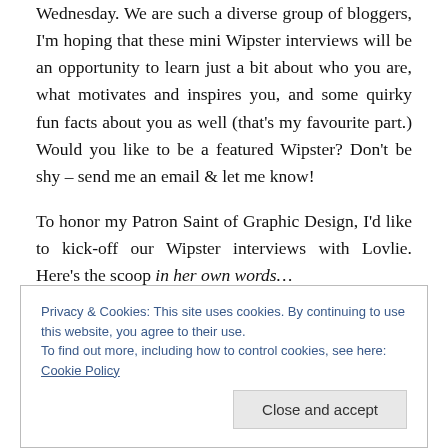Wednesday. We are such a diverse group of bloggers, I'm hoping that these mini Wipster interviews will be an opportunity to learn just a bit about who you are, what motivates and inspires you, and some quirky fun facts about you as well (that's my favourite part.) Would you like to be a featured Wipster? Don't be shy – send me an email & let me know!
To honor my Patron Saint of Graphic Design, I'd like to kick-off our Wipster interviews with Lovlie. Here's the scoop in her own words…
Privacy & Cookies: This site uses cookies. By continuing to use this website, you agree to their use.
To find out more, including how to control cookies, see here: Cookie Policy